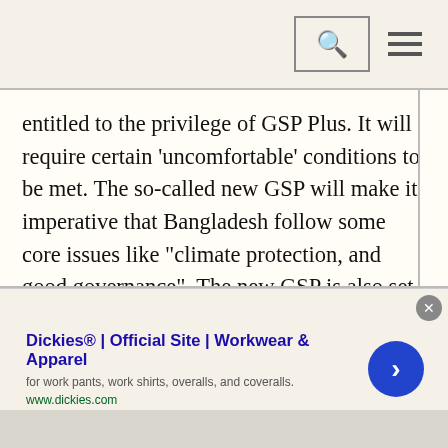[Search icon] [Hamburger menu]
entitled to the privilege of GSP Plus. It will require certain 'uncomfortable' conditions to be met. The so-called new GSP will make it imperative that Bangladesh follow some core issues like "climate protection, and good governance". The new GSP is also set to "lower the thresholds for exports", which Bangladesh businesses fear may limit the country's gains from the 'GSP Plus' in key export items like apparels.

Against the murky backdrop, made worse by the
[Figure (other): Advertisement banner for Dickies® Official Site — Workwear & Apparel. Text: 'Dickies® | Official Site | Workwear & Apparel', 'for work pants, work shirts, overalls, and coveralls.', 'www.dickies.com'. Has a close (×) button and a blue circular arrow button on the right.]